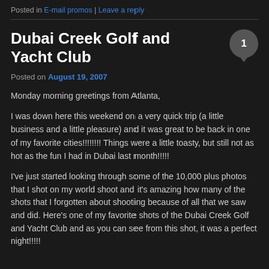Posted in E-mail promos | Leave a reply
Dubai Creek Golf and Yacht Club
Posted on August 19, 2007
Monday morning greetings from Atlanta,
I was down here this weekend on a very quick trip (a little business and a little pleasure) and it was great to be back in one of my favorite cities!!!!!!!! Things were a little toasty, but still not as hot as the fun I had in Dubai last month!!!!!
I've just started looking through some of the 10,000 plus photos that I shot on my world shoot and it's amazing how many of the shots that I forgotten about shooting because of all that we saw and did. Here's one of my favorite shots of the Dubai Creek Golf and Yacht Club and as you can see from this shot, it was a perfect night!!!!!